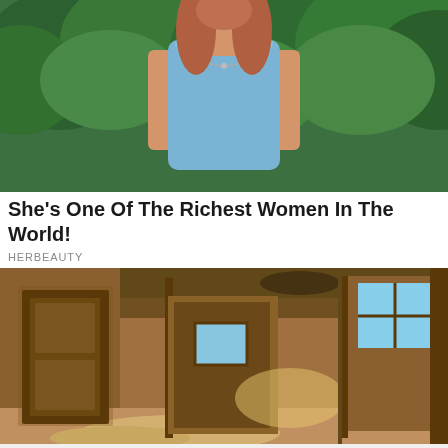[Figure (photo): Woman in blue sleeveless top with necklace, standing outdoors with green foliage in background]
She's One Of The Richest Women In The World!
HERBEAUTY
[Figure (photo): Interior of an abandoned room with wooden doors and frames, sandy floor, and a window showing blue sky outside]
[Figure (infographic): Lidl advertisement card showing Lidl logo, checkmark, text 'In-store shopping', and a blue direction arrow icon, with play and close controls below]